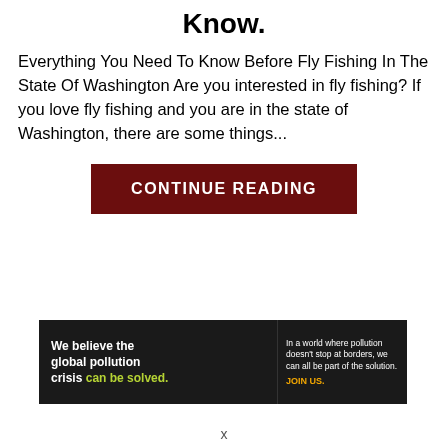Know.
Everything You Need To Know Before Fly Fishing In The State Of Washington Are you interested in fly fishing? If you love fly fishing and you are in the state of Washington, there are some things...
[Figure (other): Dark red button with white uppercase text reading CONTINUE READING]
[Figure (other): Pure Earth advertisement banner. Left dark panel: 'We believe the global pollution crisis can be solved.' Center dark panel: 'In a world where pollution doesn't stop at borders, we can all be part of the solution. JOIN US.' Right white panel: Pure Earth logo with diamond/chevron icon.]
x